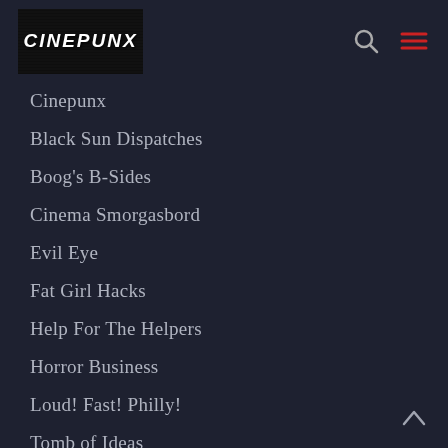Cinepunx navigation header with logo, search icon, and menu icon
Cinepunx
Black Sun Dispatches
Boog's B-Sides
Cinema Smorgasbord
Evil Eye
Fat Girl Hacks
Help For The Helpers
Horror Business
Loud! Fast! Philly!
Tomb of Ideas
Twitch of the Death Nerve
Weird, Obscure, and Possibly Unsafe